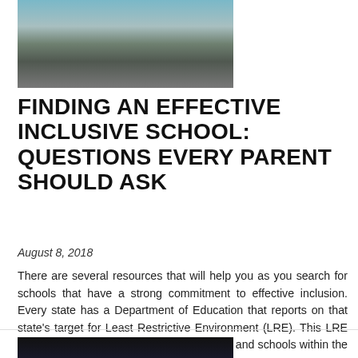[Figure (photo): Photo of adults sitting together, likely in a school or meeting setting]
FINDING AN EFFECTIVE INCLUSIVE SCHOOL: QUESTIONS EVERY PARENT SHOULD ASK
August 8, 2018
There are several resources that will help you as you search for schools that have a strong commitment to effective inclusion. Every state has a Department of Education that reports on that state's target for Least Restrictive Environment (LRE). This LRE data is also available for individual districts and schools within the state. The higher...
Read more
[Figure (photo): Dark photo, possibly showing a stage or theatrical setting with lights]